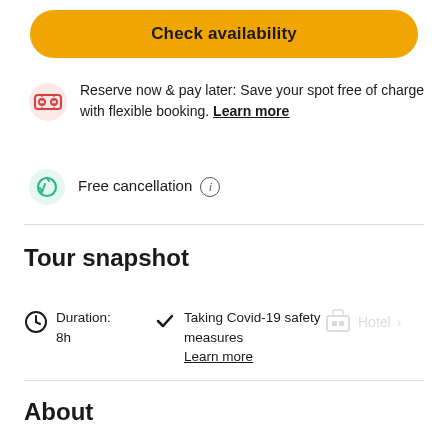Check availability
Reserve now & pay later: Save your spot free of charge with flexible booking. Learn more
Free cancellation ℹ
Tour snapshot
Duration: 8h
Taking Covid-19 safety measures Learn more
Hotel
About